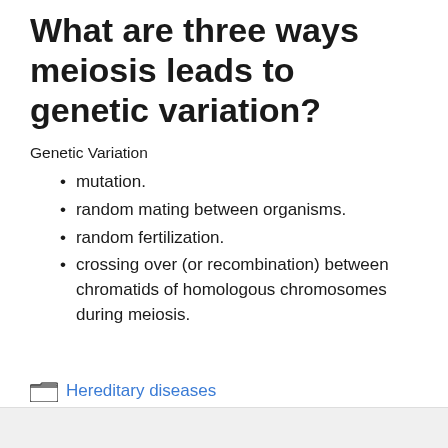What are three ways meiosis leads to genetic variation?
Genetic Variation
mutation.
random mating between organisms.
random fertilization.
crossing over (or recombination) between chromatids of homologous chromosomes during meiosis.
Hereditary diseases